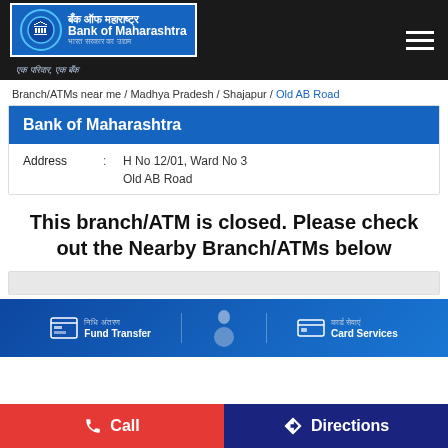[Figure (logo): Bank of Maharashtra logo with Devanagari script and English text, blue background, on dark header bar with hamburger menu icon]
Branch/ATMs near me / Madhya Pradesh / Shajapur / Old AB Road
Bank of Maharashtra
Address : H No 12/01, Ward No 3 Old AB Road
This branch/ATM is closed. Please check out the Nearby Branch/ATMs below
[Figure (screenshot): Bank of Maharashtra digital services banner showing Fund Transfer and Card Services icons on blue background]
Call
Directions